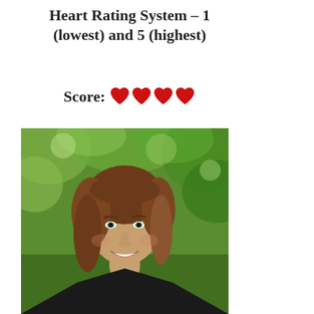Heart Rating System – 1 (lowest) and 5 (highest)
Score: ❤❤❤❤
[Figure (photo): Headshot of a smiling woman with brown hair, wearing a black shirt, with green foliage in the background]